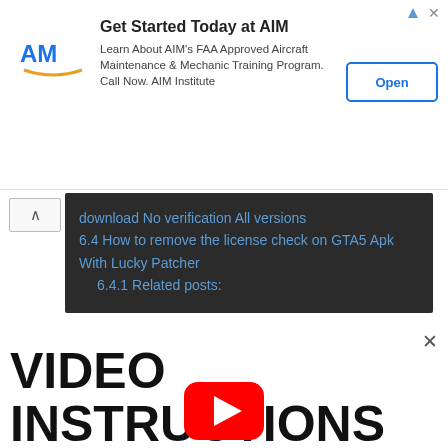[Figure (screenshot): Advertisement banner for AIM Institute with logo, text about FAA Approved Aircraft Maintenance & Mechanic Training Program, and Open button]
download No verification All versions
6.4  How to remove the license check on GTA5 Apk With Lucky Patcher
6.4.1  Related posts:
VIDEO INSTRUCTIONS
[Figure (other): YouTube play button logo (red rounded rectangle with white triangle play icon)]